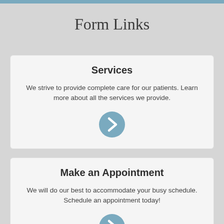Form Links
Services
We strive to provide complete care for our patients. Learn more about all the services we provide.
[Figure (other): Blue circular arrow/chevron button pointing right]
Make an Appointment
We will do our best to accommodate your busy schedule. Schedule an appointment today!
[Figure (other): Blue circular arrow/chevron button pointing right]